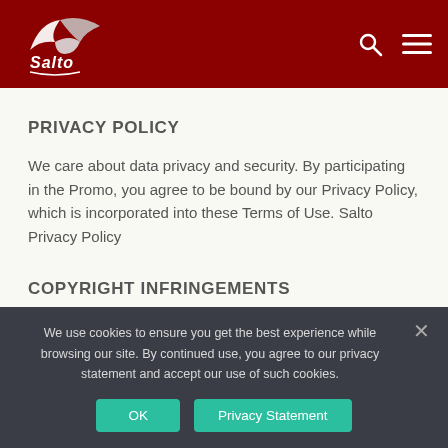[Figure (logo): Salto company logo with bird/wing graphic in white on dark red background]
PRIVACY POLICY
We care about data privacy and security. By participating in the Promo, you agree to be bound by our Privacy Policy, which is incorporated into these Terms of Use. Salto Privacy Policy
COPYRIGHT INFRINGEMENTS
We respect the intellectual property rights of others. If you
We use cookies to ensure you get the best experience while browsing our site. By continued use, you agree to our privacy statement and accept our use of such cookies.
OK
Privacy Statement